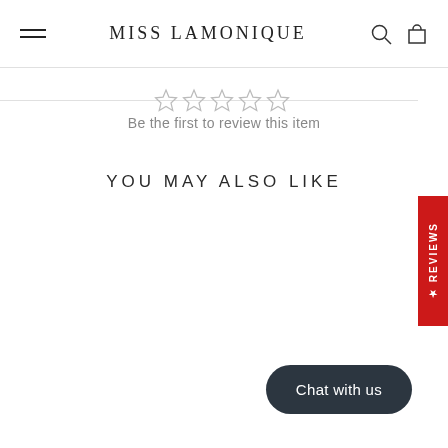MISS LAMONIQUE
[Figure (other): Five empty star rating icons in gray]
Be the first to review this item
YOU MAY ALSO LIKE
★ REVIEWS (sidebar)
Chat with us